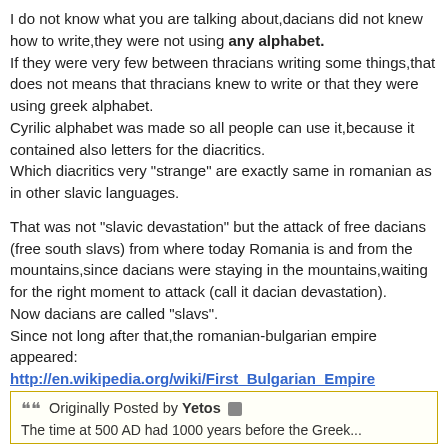I do not know what you are talking about,dacians did not knew how to write,they were not using any alphabet. If they were very few between thracians writing some things,that does not means that thracians knew to write or that they were using greek alphabet. Cyrilic alphabet was made so all people can use it,because it contained also letters for the diacritics. Which diacritics very "strange" are exactly same in romanian as in other slavic languages.
That was not "slavic devastation" but the attack of free dacians (free south slavs) from where today Romania is and from the mountains,since dacians were staying in the mountains,waiting for the right moment to attack (call it dacian devastation). Now dacians are called "slavs". Since not long after that,the romanian-bulgarian empire appeared: http://en.wikipedia.org/wiki/First_Bulgarian_Empire Sure dacians where allied with bulgars,which were an warrior tribe came from somewhere in north.
Originally Posted by Yetos
The time at 500 AD had 1000 years before the Greek...